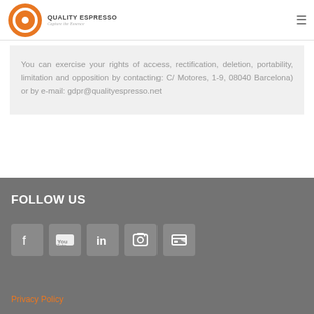Quality Espresso – Capture the Essence
You can exercise your rights of access, rectification, deletion, portability, limitation and opposition by contacting: C/ Motores, 1-9, 08040 Barcelona) or by e-mail: gdpr@qualityespresso.net
FOLLOW US
[Figure (other): Social media icons: Facebook, YouTube, LinkedIn, Instagram, and one more icon]
Privacy Policy